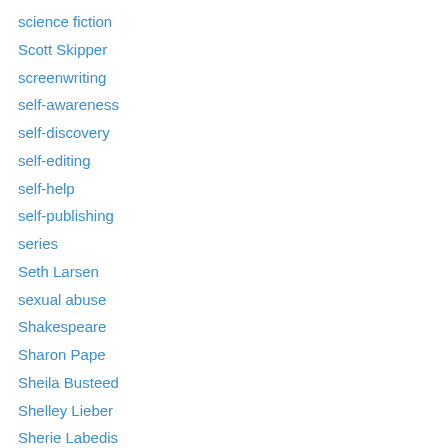science fiction
Scott Skipper
screenwriting
self-awareness
self-discovery
self-editing
self-help
self-publishing
series
Seth Larsen
sexual abuse
Shakespeare
Sharon Pape
Sheila Busteed
Shelley Lieber
Sherie Labedis
Sherlock Holmes
Sherry Antonetti
short stories
siblings